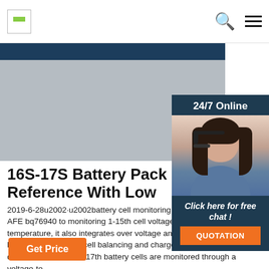Navigation bar with logo, search icon, and menu icon
[Figure (photo): Product photo showing a battery pack with dark blue top edge and gray body surface]
[Figure (photo): 24/7 Online chat widget showing a woman wearing a headset, with 'Click here for free chat!' text and orange QUOTATION button]
16S-17S Battery Pack Reference With Low
2019-6-28u2002·u2002battery cell monitoring and b... uses TI 9-15S AFE bq76940 to monitoring 1-15th cell voltage and pack current and temperature, it also integrates over voltage and under voltage hardware protection, cell balancing and charge and discharge FET drivers. The 16th and 17th battery cells are monitored through a voltage-to-
Get Price